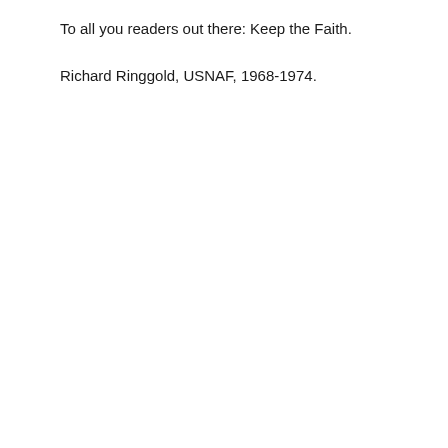To all you readers out there: Keep the Faith.
Richard Ringgold, USNAF, 1968-1974.